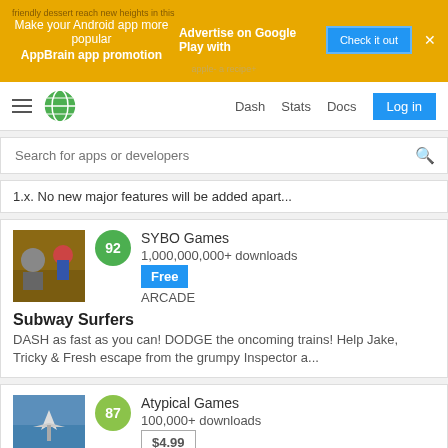[Figure (screenshot): AppBrain promotional banner with yellow/gold background. Text: 'Make your Android app more popular Advertise on Google Play with AppBrain app promotion' with a 'Check it out' blue button and close X.]
[Figure (screenshot): Navigation bar with hamburger menu, AppBrain globe logo, nav links (Dash, Stats, Docs) and blue Log in button.]
[Figure (screenshot): Search bar with placeholder text 'Search for apps or developers' and search icon.]
1.x. No new major features will be added apart...
[Figure (screenshot): App listing card for Subway Surfers by SYBO Games. Score badge: 92 (green). 1,000,000,000+ downloads. Free. ARCADE. Description: DASH as fast as you can! DODGE the oncoming trains! Help Jake, Tricky & Fresh escape from the grumpy Inspector a...]
[Figure (screenshot): App listing card for Sky Gamblers: Storm Raiders by Atypical Games. Score badge: 87 (olive/yellow-green). 100,000+ downloads. $4.99. ARCADE. Description: THIS IS THE ULTIMATE WWII AIR COMBAT GAME! You'll participate in visceral dogfights, protect cities and fleets, ...]